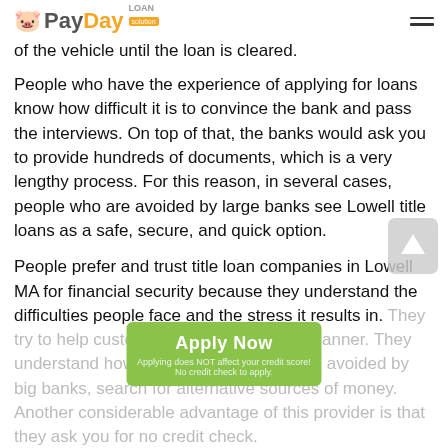PayDay Loan Solution
of the vehicle until the loan is cleared.
People who have the experience of applying for loans know how difficult it is to convince the bank and pass the interviews. On top of that, the banks would ask you to provide hundreds of documents, which is a very lengthy process. For this reason, in several cases, people who are avoided by large banks see Lowell title loans as a safe, secure, and quick option.
People prefer and trust title loan companies in Lowell MA for financial security because they understand the difficulties people face and the stress it results in. They try to help customers in every possible manner. They understand how consumers, after getting avoided by big banks, search for alternative sources of money. Another considerable advantage of this provider is that they ask you for no credit check.
[Figure (other): Apply Now button with green background, text 'Apply Now', subtitle 'Applying does NOT affect your credit score!' and 'No credit check to apply.']